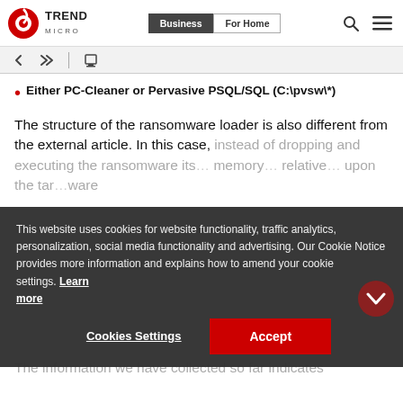Trend Micro — Business | For Home
Either PC-Cleaner or Pervasive PSQL/SQL (C:\pvsw\*)
The structure of the ransomware loader is also different from the external article. In this case, instead of dropping and executing the ransomware its... memory... relative... upon the target...ware
This website uses cookies for website functionality, traffic analytics, personalization, social media functionality and advertising. Our Cookie Notice provides more information and explains how to amend your cookie settings. Learn more
The information we have collected so far indicates